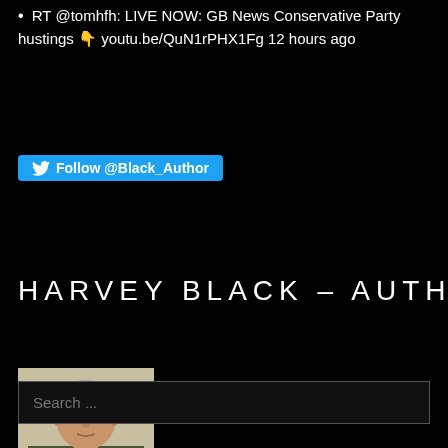RT @tomhfh: LIVE NOW: GB News Conservative Party hustings 👇 youtu.be/QuN1rPHX1Fg 12 hours ago
Follow @Black_Author
HARVEY BLACK – AUTHOR
[Figure (photo): Portrait photo of a middle-aged man wearing glasses and military camouflage uniform, standing in front of a light-colored wall]
Search ...